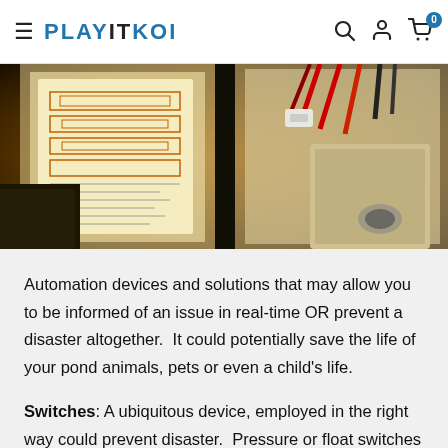PLAYITKOI
[Figure (photo): Close-up photo of an electrical control panel or junction box showing wiring diagrams, red and black wires, mounted on a wall with warm amber/yellow lighting.]
Automation devices and solutions that may allow you to be informed of an issue in real-time OR prevent a disaster altogether.  It could potentially save the life of your pond animals, pets or even a child's life.
Switches: A ubiquitous device, employed in the right way could prevent disaster.  Pressure or float switches are simple ways to make something turn on or off depending